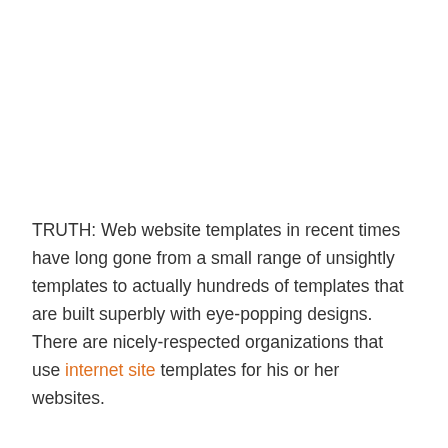TRUTH: Web website templates in recent times have long gone from a small range of unsightly templates to actually hundreds of templates that are built superbly with eye-popping designs. There are nicely-respected organizations that use internet site templates for his or her websites.